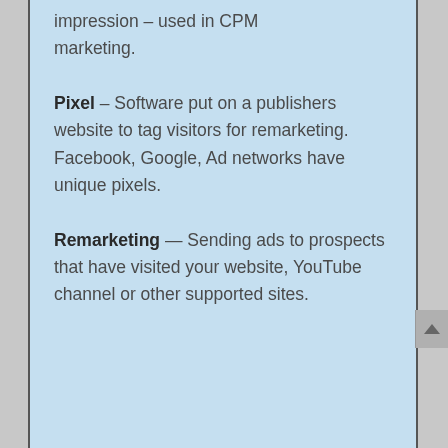impression – used in CPM marketing.
Pixel – Software put on a publishers website to tag visitors for remarketing. Facebook, Google, Ad networks have unique pixels.
Remarketing — Sending ads to prospects that have visited your website, YouTube channel or other supported sites.